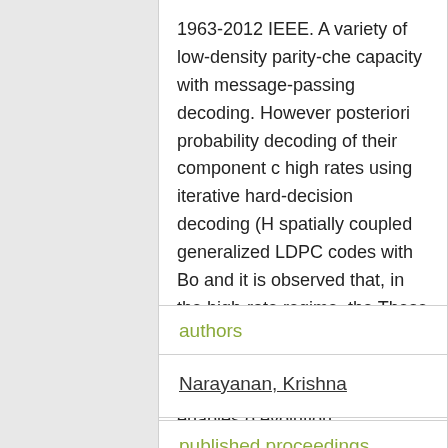1963-2012 IEEE. A variety of low-density parity-che capacity with message-passing decoding. However posteriori probability decoding of their component c high rates using iterative hard-decision decoding (H spatially coupled generalized LDPC codes with Bo and it is observed that, in the high-rate regime, the These codes can be seen as generalized product c iterative HDD algorithm is proposed that enables o evolution.
authors
Narayanan, Krishna
published proceedings
IEEE Transactions on Information Theory